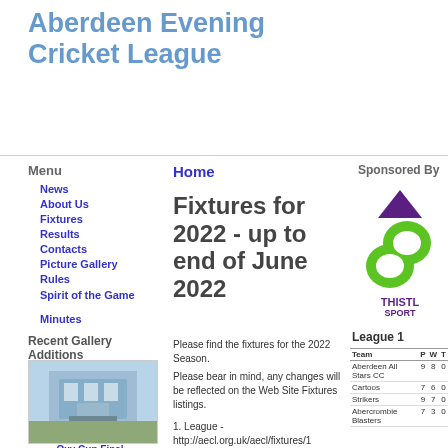Aberdeen Evening Cricket League
Menu
News
About Us
Fixtures
Results
Contacts
Picture Gallery
Rules
Spirit of the Game
Minutes
Home
Fixtures for 2022 - up to end of June 2022
Please find the fixtures for the 2022 Season.
Please bear in mind, any changes will be reflected on the Web Site Fixtures listings.
1. League - http://aecl.org.uk/aecl/fixtures/1
Sponsored By
[Figure (logo): Thistl Sport sponsor logo with green S shape and purple triangle and text THISTL SPORT]
League 1
| Team | P | W | T |
| --- | --- | --- | --- |
| Aberdeen All Stars CC | 9 | 8 | 0 |
| Cartoos | 7 | 6 | 0 |
| Strikers | 9 | 7 | 0 |
| Abercrombie Blasters | 7 | 3 | 0 |
Recent Gallery Additions
[Figure (photo): Photo of Oxy Cup Final - blue building with wooden structure outdoors]
Oxy Cup Final